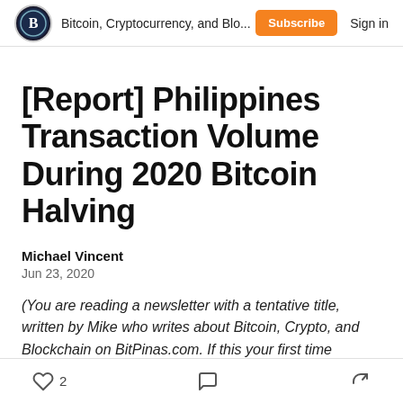Bitcoin, Cryptocurrency, and Blo...  Subscribe  Sign in
[Report] Philippines Transaction Volume During 2020 Bitcoin Halving
Michael Vincent
Jun 23, 2020
(You are reading a newsletter with a tentative title, written by Mike who writes about Bitcoin, Crypto, and Blockchain on BitPinas.com. If this your first time receiving this email, or if you have already unsubscribed but magically got
2 likes  comment  share